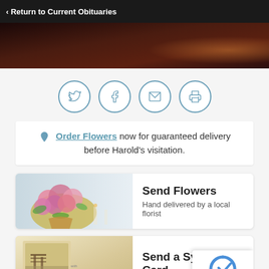‹ Return to Current Obituaries
[Figure (photo): Dark reddish-brown hero banner image with warm lighting]
[Figure (other): Four social sharing icons in circles: Twitter, Facebook, Email, Print]
Order Flowers now for guaranteed delivery before Harold's visitation.
[Figure (photo): Send Flowers banner with pink flower arrangement. Text: Send Flowers / Hand delivered by a local florist]
[Figure (photo): Send a Sympathy Card banner with image of a dock/pier at sunset. Text: Send a Sympathy Card]